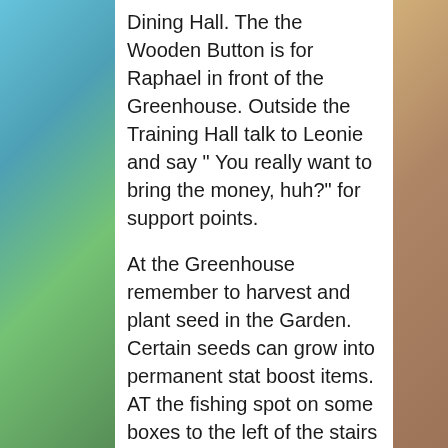Dining Hall. The the Wooden Button is for Raphael in front of the Greenhouse. Outside the Training Hall talk to Leonie and say " You really want to bring the money, huh?" for support points.
At the Greenhouse remember to harvest and plant seed in the Garden. Certain seeds can grow into permanent stat boost items. AT the fishing spot on some boxes to the left of the stairs going to the Dining room was an item. Now make sure you do some fishing for some professor experience.
In the Dining room you will find an item past the...